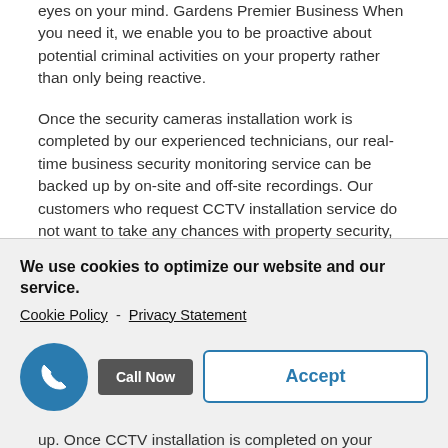eyes on your mind. Gardens Premier Business When you need it, we enable you to be proactive about potential criminal activities on your property rather than only being reactive.
Once the security cameras installation work is completed by our experienced technicians, our real-time business security monitoring service can be backed up by on-site and off-site recordings. Our customers who request CCTV installation service do not want to take any chances with property security, and our dual approach to maintaining copies of the footage ensures that the footage can always be reviewed at a later date as well as in real-time by our team.
Tailored Solutions That Meet Your Business's Unique Needs
We use cookies to optimize our website and our service.
Cookie Policy  -  Privacy Statement
Call Now
Accept
up. Once CCTV installation is completed on your